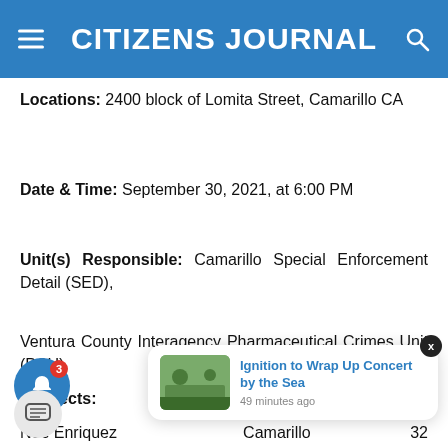CITIZENS JOURNAL
Locations: 2400 block of Lomita Street, Camarillo CA
Date & Time: September 30, 2021, at 6:00 PM
Unit(s) Responsible: Camarillo Special Enforcement Detail (SED), Ventura County Interagency Pharmaceutical Crimes Unit (PCU)
Suspects:
Noe Enriquez   Camarillo   32